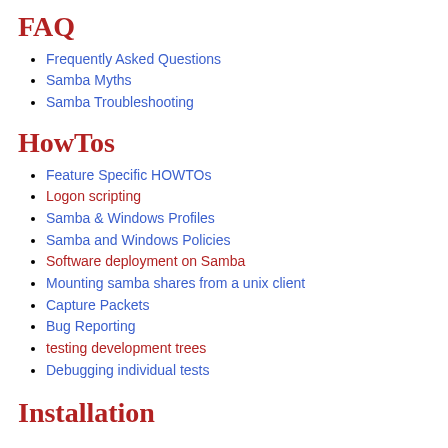FAQ
Frequently Asked Questions
Samba Myths
Samba Troubleshooting
HowTos
Feature Specific HOWTOs
Logon scripting
Samba & Windows Profiles
Samba and Windows Policies
Software deployment on Samba
Mounting samba shares from a unix client
Capture Packets
Bug Reporting
testing development trees
Debugging individual tests
Installation